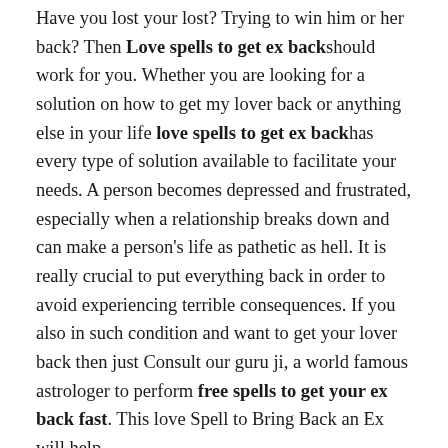Have you lost your lost? Trying to win him or her back? Then Love spells to get ex back should work for you. Whether you are looking for a solution on how to get my lover back or anything else in your life love spells to get ex back has every type of solution available to facilitate your needs. A person becomes depressed and frustrated, especially when a relationship breaks down and can make a person's life as pathetic as hell. It is really crucial to put everything back in order to avoid experiencing terrible consequences. If you also in such condition and want to get your lover back then just Consult our guru ji, a world famous astrologer to perform free spells to get your ex back fast. This love Spell to Bring Back an Ex will help.
HOW LOVE SPELLS CAN HELP U TO GET EX BACK–